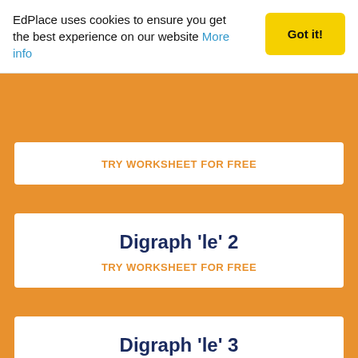EdPlace uses cookies to ensure you get the best experience on our website More info
Got it!
TRY WORKSHEET FOR FREE
Digraph 'le' 2
TRY WORKSHEET FOR FREE
Digraph 'le' 3
TRY WORKSHEET FOR FREE
Digraphs 'Ai' And 'Ay' 1
TRY WORKSHEET FOR FREE